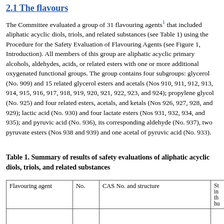2.1 The flavours
The Committee evaluated a group of 31 flavouring agents¹ that included aliphatic acyclic diols, triols, and related substances (see Table 1) using the Procedure for the Safety Evaluation of Flavouring Agents (see Figure 1, Introduction). All members of this group are aliphatic acyclic primary alcohols, aldehydes, acids, or related esters with one or more additional oxygenated functional groups. The group contains four subgroups: glycerol (No. 909) and 15 related glycerol esters and acetals (Nos 910, 911, 912, 913, 914, 915, 916, 917, 918, 919, 920, 921, 922, 923, and 924); propylene glycol (No. 925) and four related esters, acetals, and ketals (Nos 926, 927, 928, and 929); lactic acid (No. 930) and four lactate esters (Nos 931, 932, 934, and 935); and pyruvic acid (No. 936), its corresponding aldehyde (No. 937), two pyruvate esters (Nos 938 and 939) and one acetal of pyruvic acid (No. 933).
Table 1. Summary of results of safety evaluations of aliphatic acyclic diols, triols, and related substances
| Flavouring agent | No. | CAS No. and structure | St...in...th...hu... |
| --- | --- | --- | --- |
|  |  |  |  |